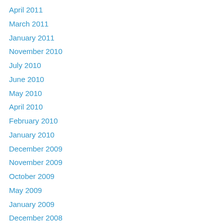April 2011
March 2011
January 2011
November 2010
July 2010
June 2010
May 2010
April 2010
February 2010
January 2010
December 2009
November 2009
October 2009
May 2009
January 2009
December 2008
August 2008
July 2008
June 2008
May 2008